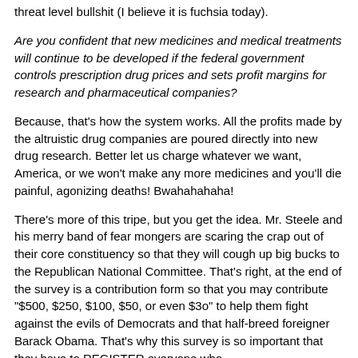threat level bullshit (I believe it is fuchsia today).
Are you confident that new medicines and medical treatments will continue to be developed if the federal government controls prescription drug prices and sets profit margins for research and pharmaceutical companies?
Because, that's how the system works. All the profits made by the altruistic drug companies are poured directly into new drug research. Better let us charge whatever we want, America, or we won't make any more medicines and you'll die painful, agonizing deaths! Bwahahahaha!
There's more of this tripe, but you get the idea. Mr. Steele and his merry band of fear mongers are scaring the crap out of their core constituency so that they will cough up big bucks to the Republican National Committee. That's right, at the end of the survey is a contribution form so that you may contribute "$500, $250, $100, $50, or even $3o" to help them fight against the evils of Democrats and that half-breed foreigner Barack Obama. That's why this survey is so important that they have to REGISTER everyone who